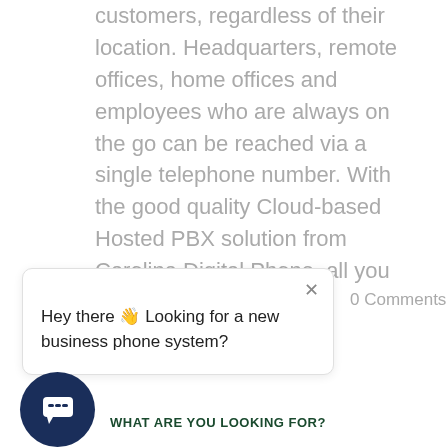customers, regardless of their location. Headquarters, remote offices, home offices and employees who are always on the go can be reached via a single telephone number. With the good quality Cloud-based Hosted PBX solution from Carolina Digital Phone, all you will need...
0 Comments
Hey there 👋 Looking for a new business phone system?
[Figure (illustration): Dark navy blue circle with a white chat/speech bubble icon inside]
WHAT ARE YOU LOOKING FOR?